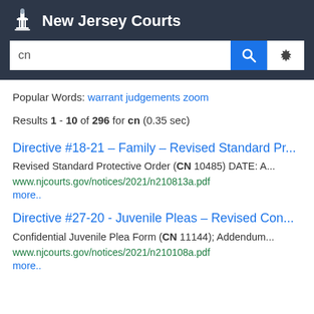New Jersey Courts
Popular Words: warrant judgements zoom
Results 1 - 10 of 296 for cn (0.35 sec)
Directive #18-21 – Family – Revised Standard Pr...
Revised Standard Protective Order (CN 10485) DATE: A...
www.njcourts.gov/notices/2021/n210813a.pdf
more..
Directive #27-20 - Juvenile Pleas – Revised Con...
Confidential Juvenile Plea Form (CN 11144); Addendum...
www.njcourts.gov/notices/2021/n210108a.pdf
more..